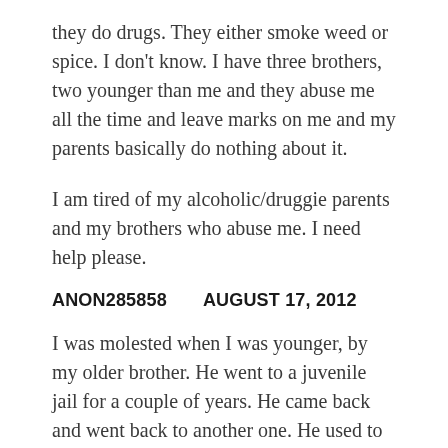they do drugs. They either smoke weed or spice. I don't know. I have three brothers, two younger than me and they abuse me all the time and leave marks on me and my parents basically do nothing about it.
I am tired of my alcoholic/druggie parents and my brothers who abuse me. I need help please.
ANON285858    AUGUST 17, 2012
I was molested when I was younger, by my older brother. He went to a juvenile jail for a couple of years. He came back and went back to another one. He used to beat me up pretty bad and that is the only thing my mother knew about.